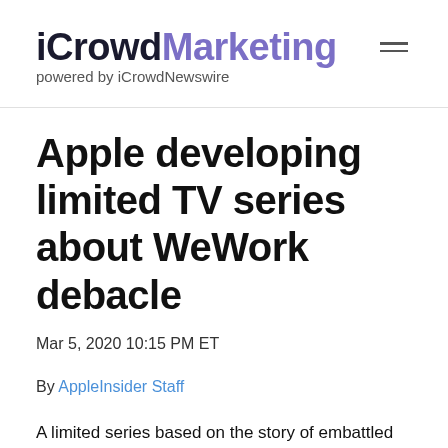iCrowdMarketing powered by iCrowdNewswire
Apple developing limited TV series about WeWork debacle
Mar 5, 2020 10:15 PM ET
By AppleInsider Staff
A limited series based on the story of embattled tech-